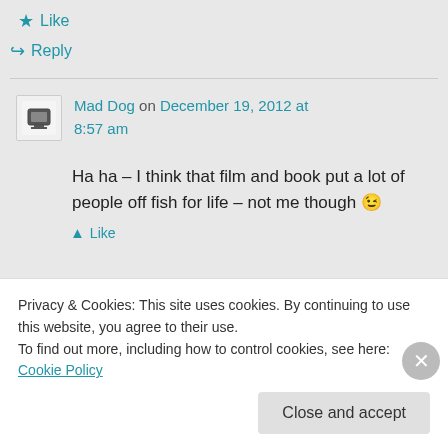★ Like
↪ Reply
Mad Dog on December 19, 2012 at 8:57 am
Ha ha – I think that film and book put a lot of people off fish for life – not me though 😉
▲ Like
Privacy & Cookies: This site uses cookies. By continuing to use this website, you agree to their use. To find out more, including how to control cookies, see here: Cookie Policy
Close and accept